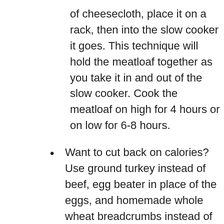of cheesecloth, place it on a rack, then into the slow cooker it goes. This technique will hold the meatloaf together as you take it in and out of the slow cooker. Cook the meatloaf on high for 4 hours or on low for 6-8 hours.
Want to cut back on calories? Use ground turkey instead of beef, egg beater in place of the eggs, and homemade whole wheat breadcrumbs instead of white